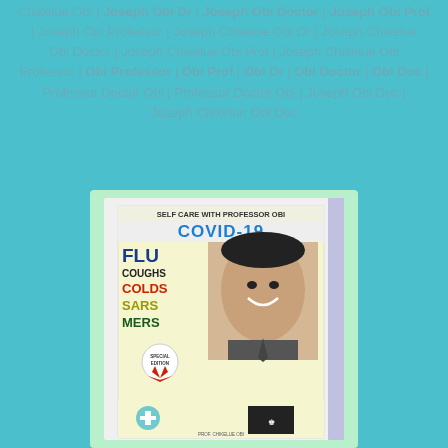Chikelue Obi | Joseph Obi Dr | Joseph Obi Doctor | Joseph Obi Prof | Joseph Obi Professor | Joseph Chikelue Obi Dr | Joseph Chikelue Obi Doctor | Joseph Chikelue Obi Prof | Joseph Chikelue Obi Professor | Obi Professor | Obi Prof | Obi Dr | Obi Doctor | Obi Doc | Professor Doctor Obi | Professor Doctor Obi | Joseph Obi Doc | Joseph Chikelue Obi Doc
[Figure (illustration): Book cover for 'Self Care with Professor Obi' featuring COVID-19 as main title, listing FLU, COUGHS, COLDS, SARS, MERS, with a photo-illustration of Professor Obi smiling, a Special Edition badge, and icons at the bottom.]